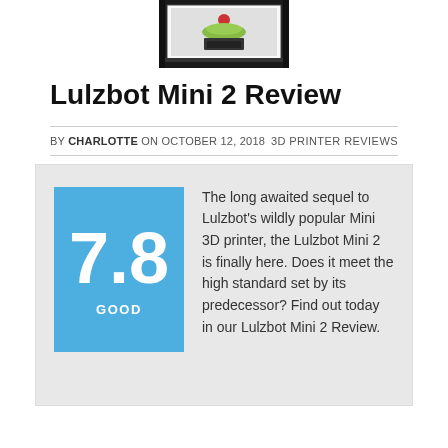[Figure (photo): 3D printer (Lulzbot Mini 2) product photo, partially cropped at top]
Lulzbot Mini 2 Review
BY CHARLOTTE ON OCTOBER 12, 2018
3D PRINTER REVIEWS
7.8 GOOD — The long awaited sequel to Lulzbot's wildly popular Mini 3D printer, the Lulzbot Mini 2 is finally here. Does it meet the high standard set by its predecessor? Find out today in our Lulzbot Mini 2 Review.